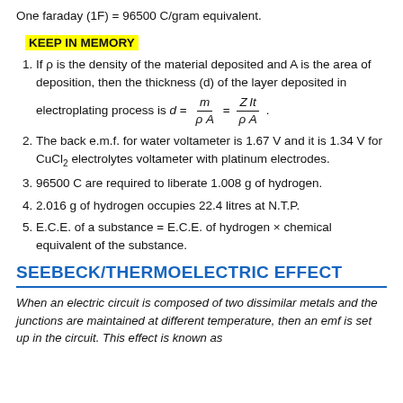One faraday (1F) = 96500 C/gram equivalent.
KEEP IN MEMORY
If ρ is the density of the material deposited and A is the area of deposition, then the thickness (d) of the layer deposited in electroplating process is d = m/(ρA) = ZIt/(ρA).
The back e.m.f. for water voltameter is 1.67 V and it is 1.34 V for CuCl₂ electrolytes voltameter with platinum electrodes.
96500 C are required to liberate 1.008 g of hydrogen.
2.016 g of hydrogen occupies 22.4 litres at N.T.P.
E.C.E. of a substance = E.C.E. of hydrogen × chemical equivalent of the substance.
SEEBECK/THERMOELECTRIC EFFECT
When an electric circuit is composed of two dissimilar metals and the junctions are maintained at different temperature, then an emf is set up in the circuit. This effect is known as